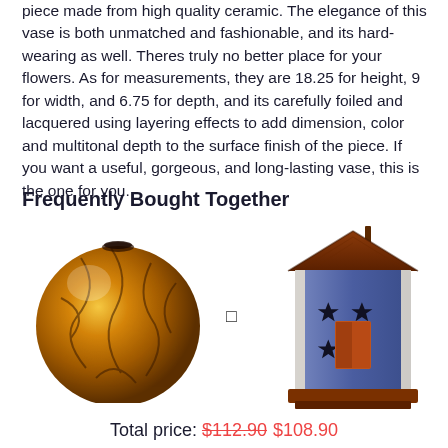piece made from high quality ceramic. The elegance of this vase is both unmatched and fashionable, and its hard-wearing as well. Theres truly no better place for your flowers. As for measurements, they are 18.25 for height, 9 for width, and 6.75 for depth, and its carefully foiled and lacquered using layering effects to add dimension, color and multitonal depth to the surface finish of the piece. If you want a useful, gorgeous, and long-lasting vase, this is the one for you.
Frequently Bought Together
[Figure (photo): Round amber/gold ceramic vase with dark veining pattern, glossy finish]
[Figure (photo): Blue and white decorative wooden birdhouse with brown roof and star cutouts]
Total price: $112.90  $108.90